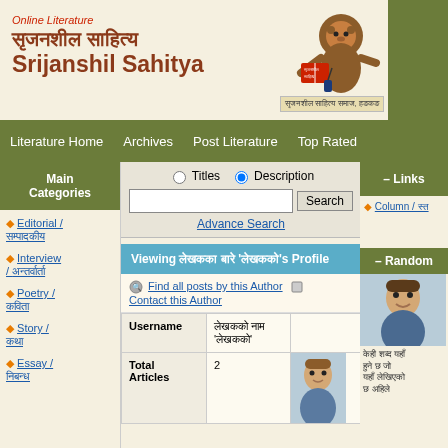Online Literature | Srijanshil Sahitya
Literature Home | Archives | Post Literature | Top Rated
Main Categories
Editorial / सम्पादकीय
Interview / अन्तर्वार्ता
Poetry / कविता
Story / कथा
Essay / निबन्ध
Titles | Description (search options)
Advance Search
Viewing लेखकका बारे 'लेखकको's Profile
Find all posts by this Author | Contact this Author
| Field | Value | Photo |
| --- | --- | --- |
| Username | लेखकको नाम 'लेखकको' |  |
| Total Articles | 2 |  |
Links
Column / स्त
Random
[Figure (photo): Random author photo - person's face]